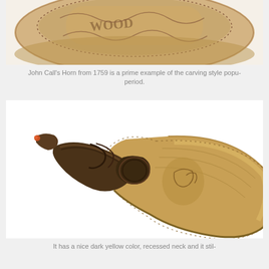[Figure (photo): Close-up photo of an ornately carved powder horn from 1759, showing detailed carving work on the surface, cropped at the top of the page]
John Call's Horn from 1759 is a prime example of the carving style popu- period.
[Figure (photo): Photo of a powder horn with a dark brown recessed neck/plug end and a tan/yellow carved body curving to the right, showing carved figures on the surface]
It has a nice dark yellow color, recessed neck and it stil-